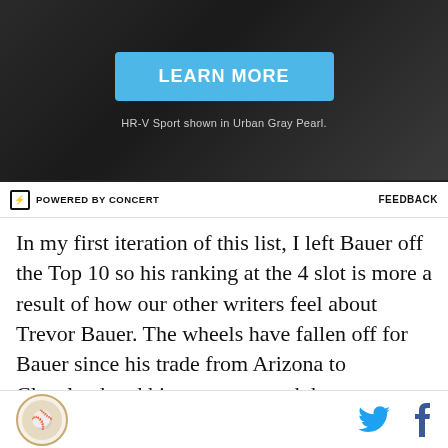[Figure (illustration): Dark gray gradient advertisement banner with a blue 'LEARN MORE' button and caption text 'HR-V Sport shown in Urban Gray Pearl.']
POWERED BY CONCERT    FEEDBACK
In my first iteration of this list, I left Bauer off the Top 10 so his ranking at the 4 slot is more a result of how our other writers feel about Trevor Bauer. The wheels have fallen off for Bauer since his trade from Arizona to Cleveland and his prospect stock has never been lower, ultimately bottoming out when Cleveland declined to include him in their expanded roster despite
[Figure (logo): Site logo circular emblem at bottom left, Twitter bird icon and Facebook 'f' icon at bottom right]